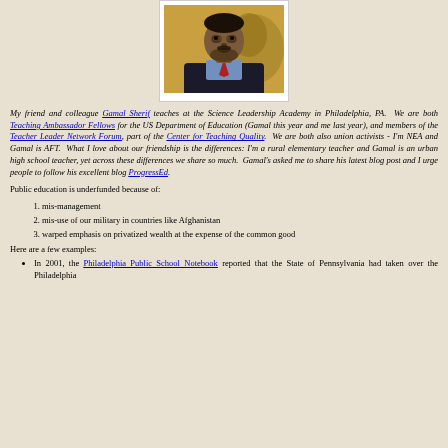[Figure (photo): Portrait photo of Gamal Sherif, a man in a dark suit with a red tie and blue shirt, seated against a background with a yellow and decorative backdrop.]
My friend and colleague Gamal Sherif teaches at the Science Leadership Academy in Philadelphia, PA.  We are both Teaching Ambassador Fellows for the US Department of Education (Gamal this year and me last year), and members of the Teacher Leader Network Forum, part of the Center for Teaching Quality.  We are both also union activists - I'm NEA and Gamal is AFT.  What I love about our friendship is the differences: I'm a rural elementary teacher and Gamal is an urban high school teacher, yet across these differences we share so much.  Gamal's asked me to share his latest blog post and I urge people to follow his excellent blog ProgressEd.
Public education is underfunded because of:
mis-management
mis-use of our military in countries like Afghanistan
warped emphasis on privatized wealth at the expense of the common good
Here are a few examples:
In 2001, the Philadelphia Public School Notebook reported that the State of Pennsylvania had taken over the Philadelphia